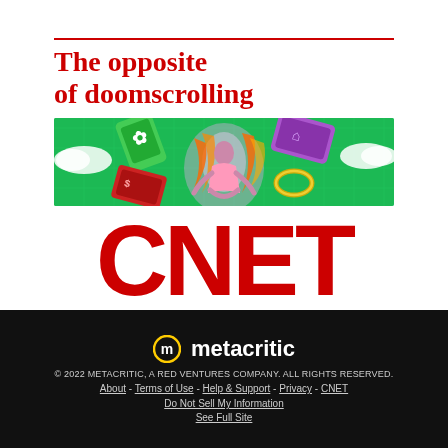[Figure (illustration): CNET advertisement. A red horizontal rule followed by red serif text 'The opposite of doomscrolling', then a colorful illustration of a meditating figure surrounded by floating tech devices on a green grid background, then large bold red CNET logo text.]
[Figure (logo): Metacritic logo: circular 'm' icon next to bold white 'metacritic' text on black background.]
© 2022 METACRITIC, A RED VENTURES COMPANY. ALL RIGHTS RESERVED. About - Terms of Use - Help & Support - Privacy - CNET Do Not Sell My Information See Full Site